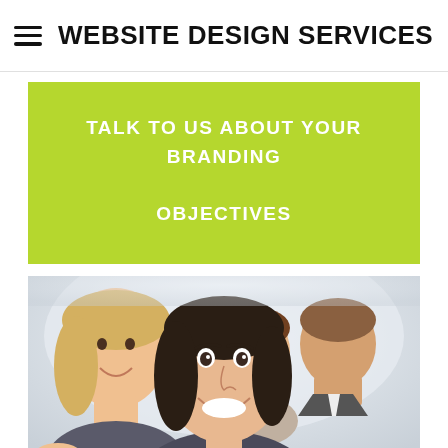WEBSITE DESIGN SERVICES N
TALK TO US ABOUT YOUR BRANDING OBJECTIVES
[Figure (photo): Group of smiling business professionals applauding, four people visible, woman in foreground with dark hair, others behind her including a blonde woman on the left and a man in a suit on the right]